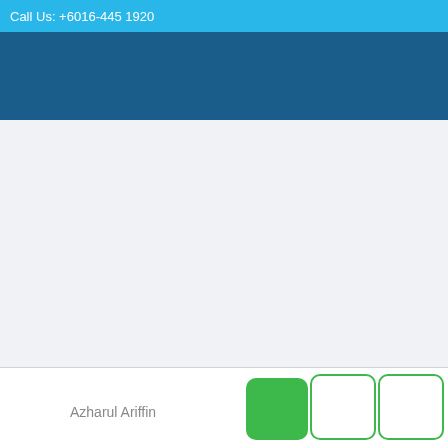Call Us: +6016-445 1920
[Figure (photo): Dark blue banner/header background area]
[Figure (photo): Two small thumbnail images of buildings/construction]
Azharul Ariffin
[Figure (other): Three square buttons: one green filled, two with green border outline]